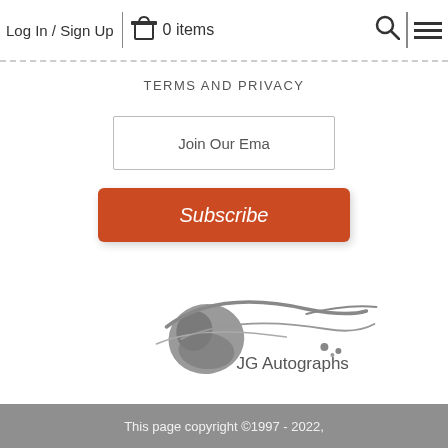Log In / Sign Up | 🔒 0 items
TERMS AND PRIVACY
Join Our Ema
Subscribe
[Figure (logo): JG Autographs logo — a grey stylized autograph/pen-stroke splatter graphic with the text 'JG Autographs']
This page copyright ©1997 - 2022,